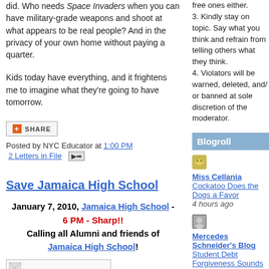did. Who needs Space Invaders when you can have military-grade weapons and shoot at what appears to be real people? And in the privacy of your own home without paying a quarter.
Kids today have everything, and it frightens me to imagine what they're going to have tomorrow.
SHARE (button)
Posted by NYC Educator at 1:00 PM
2 Letters in File
free ones either.
3. Kindly stay on topic. Say what you think and refrain from telling others what they think.
4. Violators will be warned, deleted, and/ or banned at sole discretion of the moderator.
Blogroll
[Figure (illustration): Small icon for Miss Cellania blog]
Miss Cellania
Cockatoo Does the Dogs a Favor
4 hours ago
[Figure (illustration): Small icon for Mercedes Schneider's Blog]
Mercedes Schneider's Blog
Student Debt Forgiveness
Sounds Good to
Save Jamaica High School
January 7, 2010, Jamaica High School - 6 PM - Sharp!! Calling all Alumni and friends of Jamaica High School!
[Figure (illustration): Image placeholder with broken image icon]